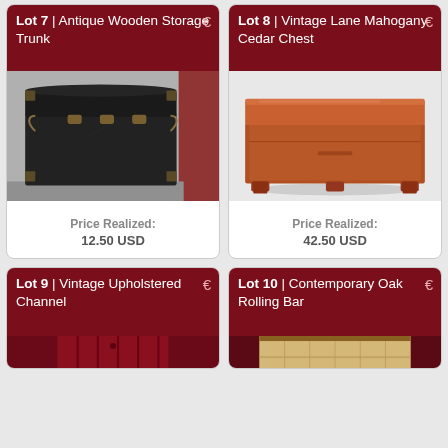Lot 7 | Antique Wooden Storage Trunk
[Figure (photo): Black antique wooden storage trunk with metal latches and handles, photographed against a light background with red fabric visible on the right side.]
Price Realized: 12.50 USD
Lot 8 | Vintage Lane Mahogany Cedar Chest
[Figure (photo): Mahogany cedar chest with carved bracket feet, warm reddish-brown finish, photographed against white background.]
Price Realized: 42.50 USD
Lot 9 | Vintage Upholstered Channel
[Figure (photo): Partial view of a vintage upholstered channel back chair in red/burgundy fabric.]
Lot 10 | Contemporary Oak Rolling Bar
[Figure (photo): Partial view of a contemporary oak rolling bar unit with light wood finish.]